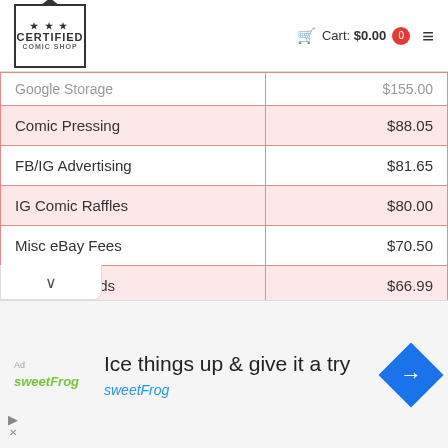Certified Comic Shop — Cart: $0.00
|  |  |
| --- | --- |
| Google Storage | $155.00 |
| Comic Pressing | $88.05 |
| FB/IG Advertising | $81.65 |
| IG Comic Raffles | $80.00 |
| Misc eBay Fees | $70.50 |
| Bags & Boards | $66.99 |
| Banking Fees | $52.50 |
| Total | $5,841.04 |
[Figure (other): sweetFrog advertisement banner: Ice things up & give it a try]